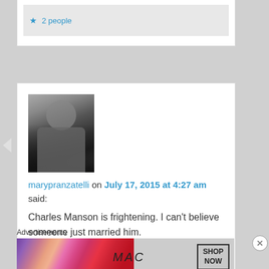Liked by 2 people
[Figure (photo): Black and white profile photo of a woman]
marypranzatelli on July 17, 2015 at 4:27 am said:
Charles Manson is frightening. I can't believe someone just married him.
Liked by 1 person
Advertisements
[Figure (screenshot): MAC cosmetics advertisement banner with lipsticks and SHOP NOW button]